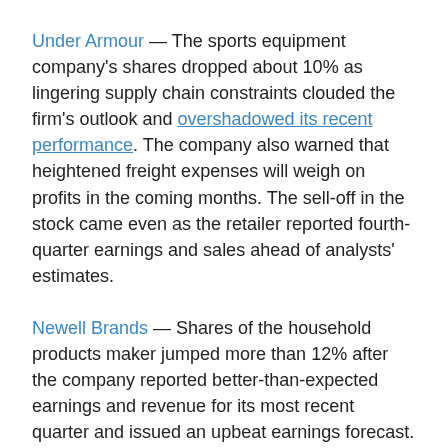Under Armour — The sports equipment company's shares dropped about 10% as lingering supply chain constraints clouded the firm's outlook and overshadowed its recent performance. The company also warned that heightened freight expenses will weigh on profits in the coming months. The sell-off in the stock came even as the retailer reported fourth-quarter earnings and sales ahead of analysts' estimates.
Newell Brands — Shares of the household products maker jumped more than 12% after the company reported better-than-expected earnings and revenue for its most recent quarter and issued an upbeat earnings forecast. Newell brought in an